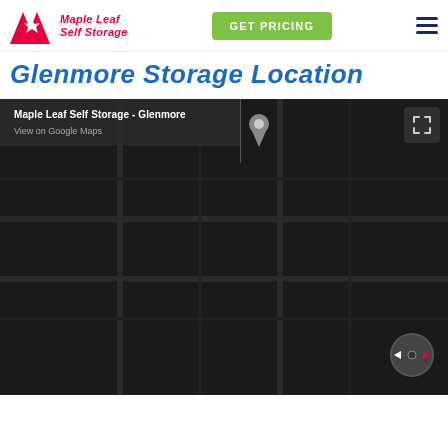Maple Leaf Self Storage
Glenmore Storage Location
[Figure (map): Google Maps embed showing Maple Leaf Self Storage - Glenmore location. Dark/night mode map. Overlay shows business name 'Maple Leaf Self Storage - Glenmore' with 'View on Google Maps' link, a map pin icon, expand button top-right, and navigation control bottom-right.]